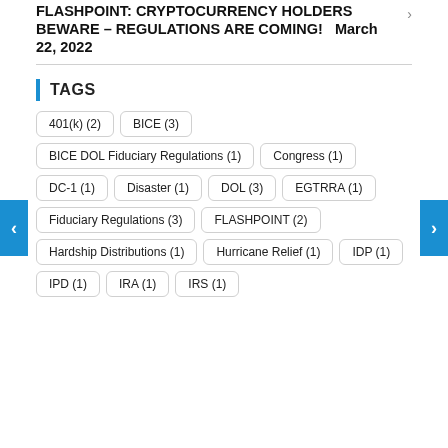FLASHPOINT: CRYPTOCURRENCY HOLDERS BEWARE – REGULATIONS ARE COMING!   March 22, 2022
TAGS
401(k) (2)
BICE (3)
BICE DOL Fiduciary Regulations (1)
Congress (1)
DC-1 (1)
Disaster (1)
DOL (3)
EGTRRA (1)
Fiduciary Regulations (3)
FLASHPOINT (2)
Hardship Distributions (1)
Hurricane Relief (1)
IDP (1)
IPD (1)
IRA (1)
IRS (1)